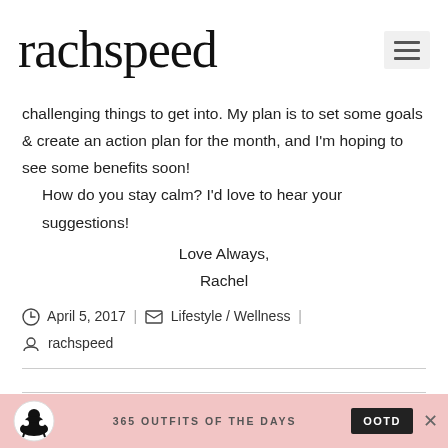rachspeed
challenging things to get into. My plan is to set some goals & create an action plan for the month, and I'm hoping to see some benefits soon!
    How do you stay calm? I'd love to hear your suggestions!
Love Always,
Rachel
April 5, 2017 | Lifestyle / Wellness | rachspeed
SHARE THIS BLOG POST
365 OUTFITS OF THE DAYS